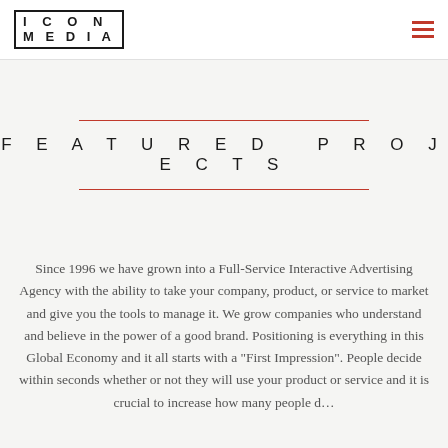ICON MEDIA
FEATURED PROJECTS
Since 1996 we have grown into a Full-Service Interactive Advertising Agency with the ability to take your company, product, or service to market and give you the tools to manage it. We grow companies who understand and believe in the power of a good brand. Positioning is everything in this Global Economy and it all starts with a "First Impression". People decide within seconds whether or not they will use your product or service and it is crucial to increase how many people d...